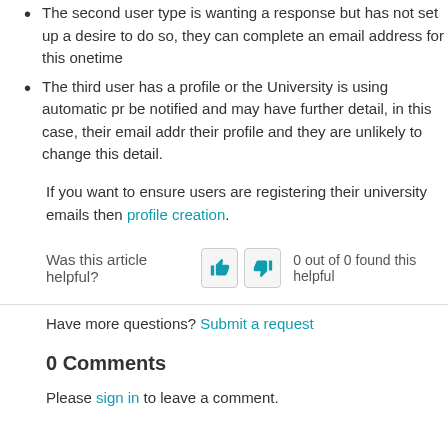The second user type is wanting a response but has not set up a desire to do so, they can complete an email address for this onetime
The third user has a profile or the University is using automatic pr be notified and may have further detail, in this case, their email addr their profile and they are unlikely to change this detail.
If you want to ensure users are registering their university emails then profile creation.
Was this article helpful? 0 out of 0 found this helpful
Have more questions? Submit a request
0 Comments
Please sign in to leave a comment.